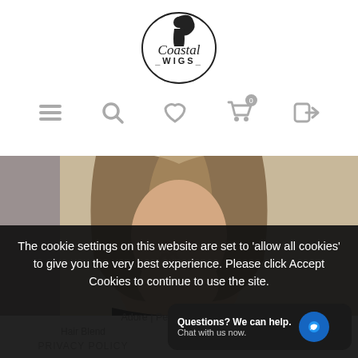[Figure (logo): Coastal Wigs logo — circular emblem with a silhouette figure and script text 'Coastal WIGS' with underscores]
[Figure (other): Navigation bar with icons: hamburger menu, search magnifying glass, heart/wishlist, shopping cart with badge '0', and login arrow icon]
[Figure (photo): Close-up photo of a woman with a blonde highlighted bob wig, wearing black, touching her chin/neck, shown from chin/neck area]
The cookie settings on this website are set to 'allow all cookies' to give you the very best experience. Please click Accept Cookies to continue to use the site.
Adore | Petite Average | ...
Hair Blend ...
PRIVACY POLICY
Questions? We can help. Chat with us now.